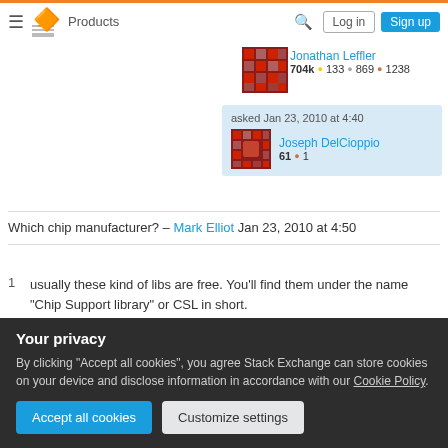Stack Overflow — Products | Log in | Sign up
[Figure (screenshot): Jonathan Leffler user avatar (red patterned icon)]
Jonathan Leffler 704k • 133 • 869 • 1238
asked Jan 23, 2010 at 4:40
[Figure (screenshot): Joseph DelCioppio user avatar (red patterned icon)]
Joseph DelCioppio 61 • 1
Which chip manufacturer? – Mark Elliot Jan 23, 2010 at 4:50
1  usually these kind of libs are free. You'll find them under the name "Chip Support library" or CSL in short.
Your privacy
By clicking "Accept all cookies", you agree Stack Exchange can store cookies on your device and disclose information in accordance with our Cookie Policy.
Accept all cookies | Customize settings